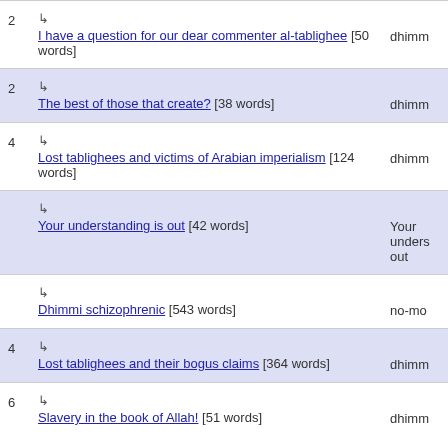2 ↳ I have a question for our dear commenter al-tablighee [50 words] dhimm
2 ↳ The best of those that create? [38 words] dhimm
4 ↳ Lost tablighees and victims of Arabian imperialism [124 words] dhimm
↳ Your understanding is out [42 words] Your unders out
↳ Dhimmi schizophrenic [543 words] no-mo
4 ↳ Lost tablighees and their bogus claims [364 words] dhimm
6 ↳ Slavery in the book of Allah! [51 words] dhimm